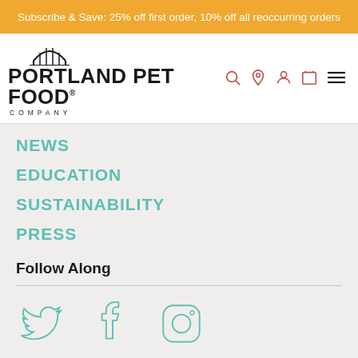Subscribe & Save: 25% off first order, 10% off all reoccurring orders
[Figure (logo): Portland Pet Food Company logo with bridge arch icon above bold wordmark]
NEWS
EDUCATION
SUSTAINABILITY
PRESS
Follow Along
[Figure (illustration): Social media icons: Twitter bird, Facebook f, Instagram camera]